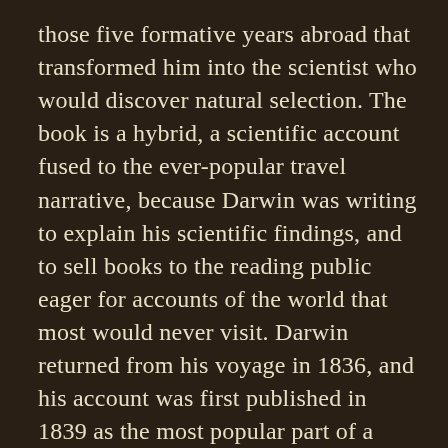those five formative years abroad that transformed him into the scientist who would discover natural selection. The book is a hybrid, a scientific account fused to the ever-popular travel narrative, because Darwin was writing to explain his scientific findings, and to sell books to the reading public eager for accounts of the world that most would never visit. Darwin returned from his voyage in 1836, and his account was first published in 1839 as the most popular part of a multi-volume record of the Beagle's exploits, and later in 1845 as the definitive edition that we read today.

What strikes you most immediately on reading the Voyage of the Beagle are Darwin's